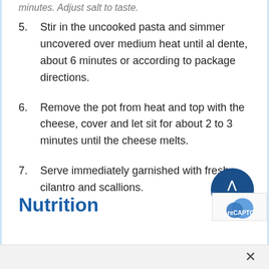5. Stir in the uncooked pasta and simmer uncovered over medium heat until al dente, about 6 minutes or according to package directions.
6. Remove the pot from heat and top with the cheese, cover and let sit for about 2 to 3 minutes until the cheese melts.
7. Serve immediately garnished with fresh cilantro and scallions.
Nutrition